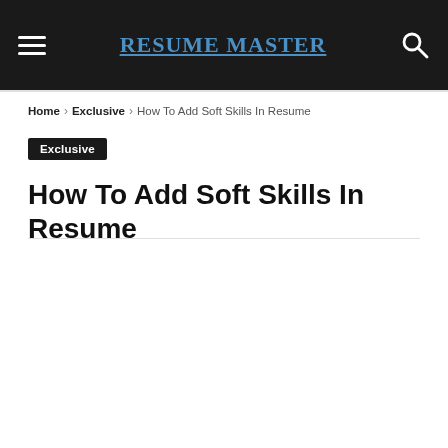RESUME MASTER
Home › Exclusive › How To Add Soft Skills In Resume
Exclusive
How To Add Soft Skills In Resume